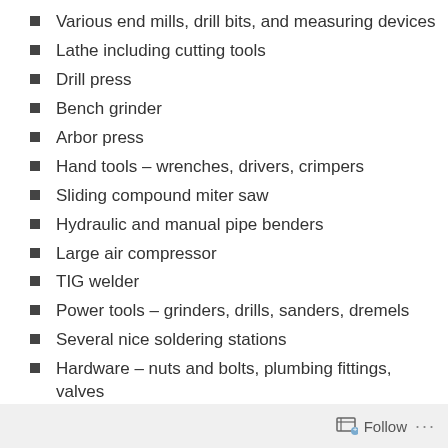Various end mills, drill bits, and measuring devices
Lathe including cutting tools
Drill press
Bench grinder
Arbor press
Hand tools – wrenches, drivers, crimpers
Sliding compound miter saw
Hydraulic and manual pipe benders
Large air compressor
TIG welder
Power tools – grinders, drills, sanders, dremels
Several nice soldering stations
Hardware – nuts and bolts, plumbing fittings, valves
Electrical parts – connectors, components, solder
Materials – aluminum stock, wood, steel
Follow